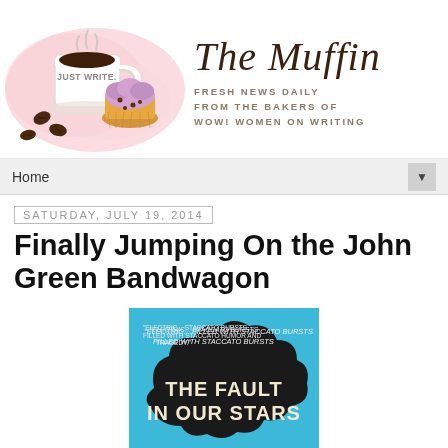[Figure (illustration): The Muffin blog header with illustrated coffee cup, muffin, and coffee beans on a pink watercolor splash background. Text on cups says 'Just Write.']
The Muffin
FRESH NEWS DAILY
FROM THE BAKERS OF
WOW! WOMEN ON WRITING
Home
Saturday, July 19, 2014
Finally Jumping On the John Green Bandwagon
[Figure (photo): Book cover of 'The Fault In Our Stars' — light blue background with a black cloud shape containing the title in chalk-style text. Top quote reads: "Electric... filled with staccato bursts of humor and tragedy."]